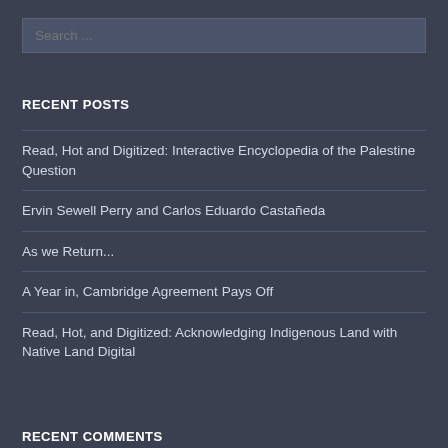Search ...
RECENT POSTS
Read, Hot and Digitized: Interactive Encyclopedia of the Palestine Question
Ervin Sewell Perry and Carlos Eduardo Castañeda
As we Return...
A Year in, Cambridge Agreement Pays Off
Read, Hot, and Digitized: Acknowledging Indigenous Land with Native Land Digital
RECENT COMMENTS